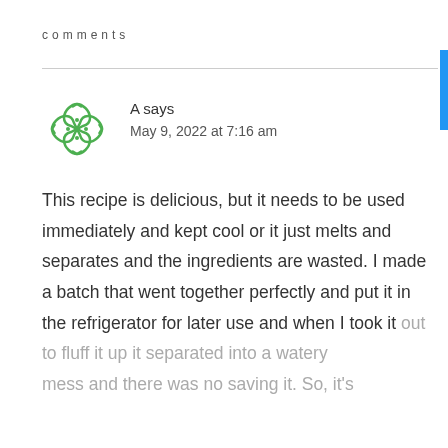comments
A says
May 9, 2022 at 7:16 am
This recipe is delicious, but it needs to be used immediately and kept cool or it just melts and separates and the ingredients are wasted. I made a batch that went together perfectly and put it in the refrigerator for later use and when I took it out to fluff it up it separated into a watery mess and there was no saving it. So, it's